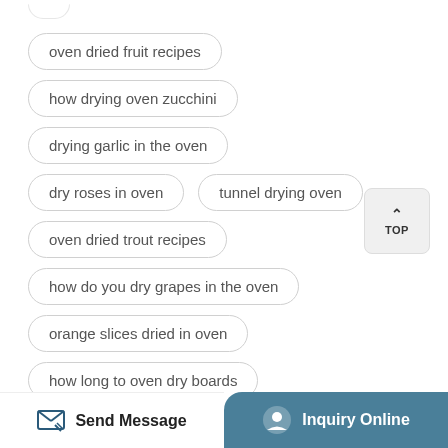oven dried fruit recipes
how drying oven zucchini
drying garlic in the oven
dry roses in oven
tunnel drying oven
oven dried trout recipes
how do you dry grapes in the oven
orange slices dried in oven
how long to oven dry boards
Send Message  Inquiry Online